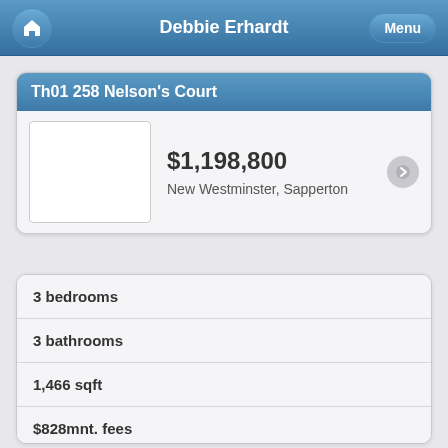Debbie Erhardt
Th01 258 Nelson's Court
$1,198,800
New Westminster, Sapperton
3 bedrooms
3 bathrooms
1,466 sqft
$828mnt. fees
built in 2020
$3,655 taxes in 2021
Townhouse